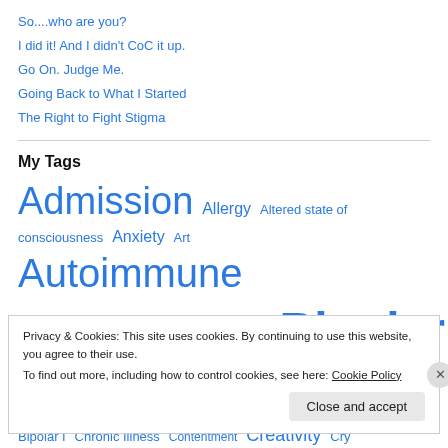So....who are you?
I did it! And I didn't CoC it up.
Go On. Judge Me.
Going Back to What I Started
The Right to Fight Stigma
My Tags
Admission Allergy Altered state of consciousness Anxiety Art Autoimmune Disease bipolar Bipolar disorder Bipolar I Chronic Illness Contentment Creativity Cry Depression
Privacy & Cookies: This site uses cookies. By continuing to use this website, you agree to their use.
To find out more, including how to control cookies, see here: Cookie Policy
Close and accept